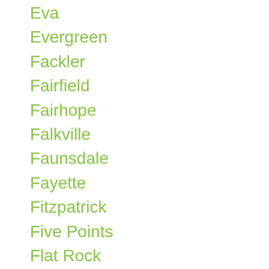Eva
Evergreen
Fackler
Fairfield
Fairhope
Falkville
Faunsdale
Fayette
Fitzpatrick
Five Points
Flat Rock
Flomaton
Florala
Florence
Foley